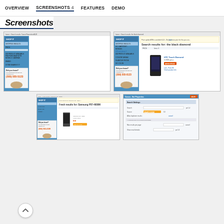OVERVIEW  SCREENSHOTS 4  FEATURES  DEMO
Screenshots
[Figure (screenshot): Screenshot 1: Search results for Canon Powershot A520 on a shopping comparison website with sidebar navigation, product image, and Did you know panel]
[Figure (screenshot): Screenshot 2: Search results for 'the black diamond' on a shopping comparison website with sidebar navigation, product image of HTC device, and Did you know panel]
[Figure (screenshot): Screenshot 3: Fresh results for Samsung P57-4000M on a shopping comparison website with sidebar and product image]
[Figure (screenshot): Screenshot 4: Search form/configuration panel on shopping comparison website]